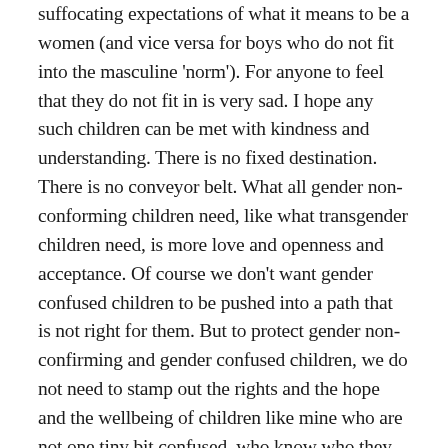suffocating expectations of what it means to be a women (and vice versa for boys who do not fit into the masculine 'norm'). For anyone to feel that they do not fit in is very sad. I hope any such children can be met with kindness and understanding. There is no fixed destination. There is no conveyor belt. What all gender non-conforming children need, like what transgender children need, is more love and openness and acceptance. Of course we don't want gender confused children to be pushed into a path that is not right for them. But to protect gender non-confirming and gender confused children, we do not need to stamp out the rights and the hope and the wellbeing of children like mine who are not one tiny bit confused, who know who they are and just want acceptance and room to exist.